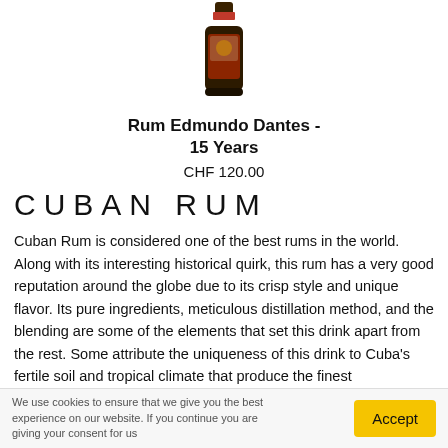[Figure (photo): A bottle of Rum Edmundo Dantes 15 Years, partially visible at the top of the page — dark bottle with a red/illustrated label]
Rum Edmundo Dantes - 15 Years
CHF 120.00
CUBAN RUM
Cuban Rum is considered one of the best rums in the world. Along with its interesting historical quirk, this rum has a very good reputation around the globe due to its crisp style and unique flavor. Its pure ingredients, meticulous distillation method, and the blending are some of the elements that set this drink apart from the rest. Some attribute the uniqueness of this drink to Cuba's fertile soil and tropical climate that produce the finest
We use cookies to ensure that we give you the best experience on our website. If you continue you are giving your consent for us
Accept